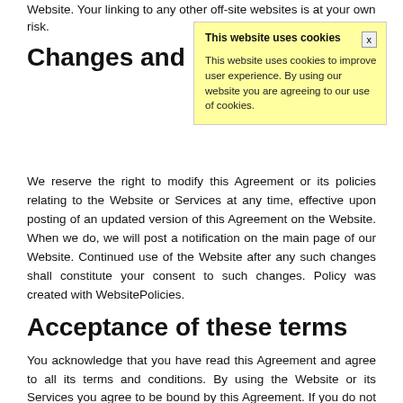Website. Your linking to any other off-site websites is at your own risk.
Changes and a…
[Figure (screenshot): Cookie consent popup with yellow background. Title: 'This website uses cookies'. Body: 'This website uses cookies to improve user experience. By using our website you are agreeing to our use of cookies.' Close button 'x' in top right.]
We reserve the right to modify this Agreement or its policies relating to the Website or Services at any time, effective upon posting of an updated version of this Agreement on the Website. When we do, we will post a notification on the main page of our Website. Continued use of the Website after any such changes shall constitute your consent to such changes. Policy was created with WebsitePolicies.
Acceptance of these terms
You acknowledge that you have read this Agreement and agree to all its terms and conditions. By using the Website or its Services you agree to be bound by this Agreement. If you do not agree to abide by the terms of this Agreement, you are not authorized to use or access the Website and its Services.
Contacting us